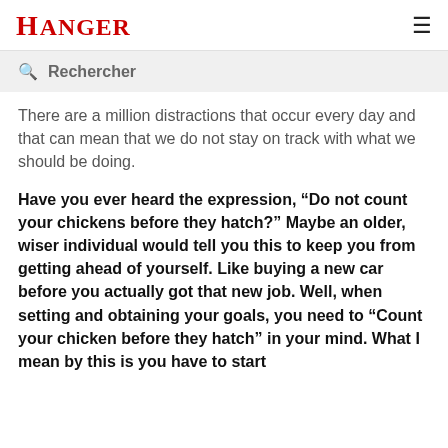HANGER
Rechercher
There are a million distractions that occur every day and that can mean that we do not stay on track with what we should be doing.
Have you ever heard the expression, “Do not count your chickens before they hatch?” Maybe an older, wiser individual would tell you this to keep you from getting ahead of yourself. Like buying a new car before you actually got that new job. Well, when setting and obtaining your goals, you need to “Count your chicken before they hatch” in your mind. What I mean by this is you have to start